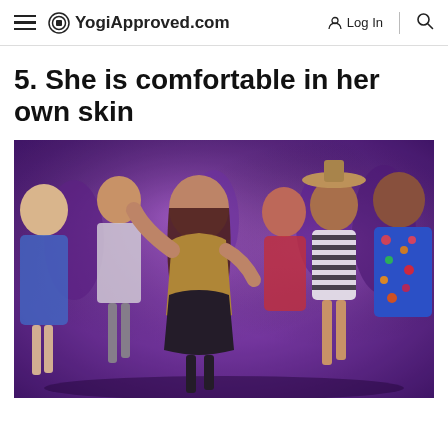YogiApproved.com  Log In
5. She is comfortable in her own skin
[Figure (photo): Group of people dancing energetically at a party/club. A woman in a gold and black dress is in the center, dancing. Other partygoers surround her, including a woman in a striped top with a hat, and a man in a colorful patterned shirt. The lighting is purple/pink.]